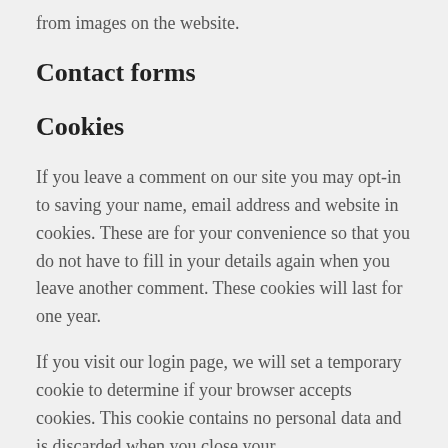from images on the website.
Contact forms
Cookies
If you leave a comment on our site you may opt-in to saving your name, email address and website in cookies. These are for your convenience so that you do not have to fill in your details again when you leave another comment. These cookies will last for one year.
If you visit our login page, we will set a temporary cookie to determine if your browser accepts cookies. This cookie contains no personal data and is discarded when you close your